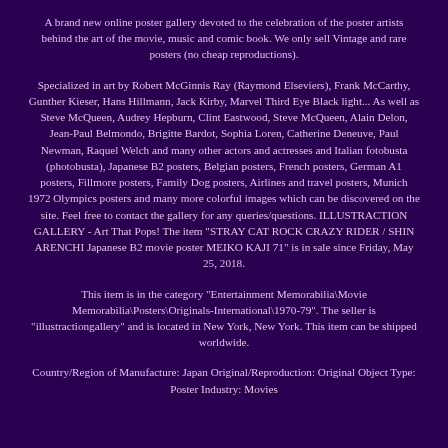A brand new online poster gallery devoted to the celebration of the poster artists behind the art of the movie, music and comic book. We only sell Vintage and rare posters (no cheap reproductions).
Specialized in art by Robert McGinnis Ray (Raymond Elseviers), Frank McCarthy, Gunther Kieser, Hans Hillmann, Jack Kirby, Marvel Third Eye Black light... As well as Steve McQueen, Audrey Hepburn, Clint Eastwood, Steve McQueen, Alain Delon, Jean-Paul Belmondo, Brigitte Bardot, Sophia Loren, Catherine Deneuve, Paul Newman, Raquel Welch and many other actors and actresses and Italian fotobusta (photobusta), Japanese B2 posters, Belgian posters, French posters, German A1 posters, Fillmore posters, Family Dog posters, Airlines and travel posters, Munich 1972 Olympics posters and many more colorful images which can be discovered on the site. Feel free to contact the gallery for any queries/questions. ILLUSTRACTION GALLERY - Art That Pops! The item "STRAY CAT ROCK CRAZY RIDER / SHIN ARENCHI Japanese B2 movie poster MEIKO KAJI 71" is in sale since Friday, May 25, 2018.
This item is in the category "Entertainment Memorabilia\Movie Memorabilia\Posters\Originals-International\1970-79". The seller is "illustractiongallery" and is located in New York, New York. This item can be shipped worldwide.
Country/Region of Manufacture: Japan Original/Reproduction: Original Object Type: Poster Industry: Movies